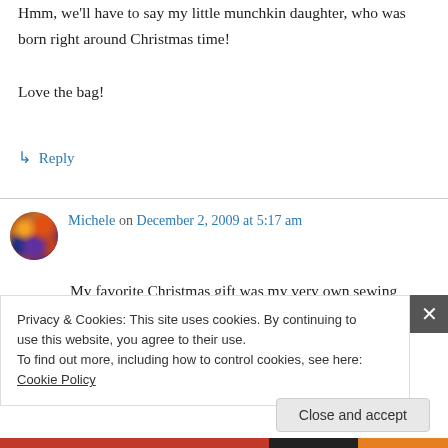Hmm, we'll have to say my little munchkin daughter, who was born right around Christmas time!
Love the bag!
↳ Reply
Michele on December 2, 2009 at 5:17 am
My favorite Christmas gift was my very own sewing machine. I've upgraded since then, but it's still my favorite. Your bag is gorgeous! So fun
Privacy & Cookies: This site uses cookies. By continuing to use this website, you agree to their use.
To find out more, including how to control cookies, see here: Cookie Policy
Close and accept